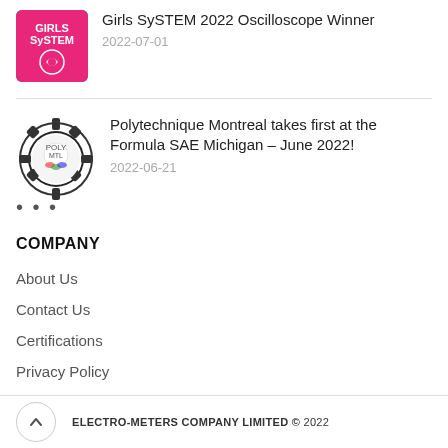[Figure (logo): Girls SySTEM pink logo badge with gear icon]
Girls SySTEM 2022 Oscilloscope Winner
2022-07-01
[Figure (logo): Polytechnique Montreal circular gear logo badge]
Polytechnique Montreal takes first at the Formula SAE Michigan – June 2022!
2022-06-21
COMPANY
About Us
Contact Us
Certifications
Privacy Policy
ELECTRO-METERS COMPANY LIMITED © 2022